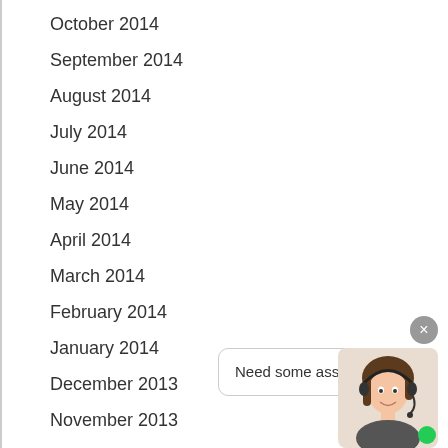October 2014
September 2014
August 2014
July 2014
June 2014
May 2014
April 2014
March 2014
February 2014
January 2014
December 2013
November 2013
October 2013
September 2013
August 2013
[Figure (illustration): Customer service chat widget with close button (x), speech bubble saying 'Need some assistance?', and an avatar photo of a woman with a headset, with a green online indicator dot.]